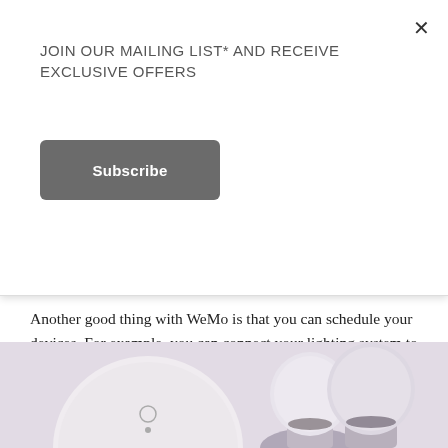JOIN OUR MAILING LIST* AND RECEIVE EXCLUSIVE OFFERS
Subscribe
easily turn it off with a few clicks anywhere you are.
Another good thing with WeMo is that you can schedule your devices. For example, you can connect your lighting system to a switch on the app and then schedule it to turn on at around 6 P.M. or whenever you need to. You can do the same when turning it off and gives you the advantage of never worrying about whether you've left something running.
[Figure (photo): Photo of WeMo smart home devices including a round white hub/switch and two silver and white LED smart bulbs on a light purple/lavender background]